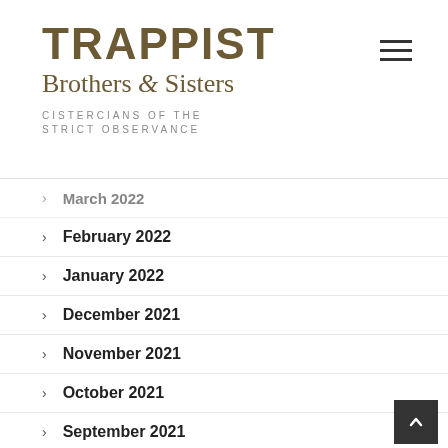TRAPPIST Brothers & Sisters CISTERCIANS OF THE STRICT OBSERVANCE
March 2022
February 2022
January 2022
December 2021
November 2021
October 2021
September 2021
August 2021
July 2021
June 2021
May 2021